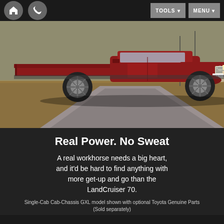Navigation bar with home icon, phone icon, TOOLS dropdown, MENU dropdown
[Figure (photo): Red Toyota LandCruiser 70 Single-Cab Cab-Chassis GXL driving on a rural road with dry grassland in background]
Real Power. No Sweat
A real workhorse needs a big heart, and it'd be hard to find anything with more get-up and go than the LandCruiser 70.
Single-Cab Cab-Chassis GXL model shown with optional Toyota Genuine Parts (Sold separately)